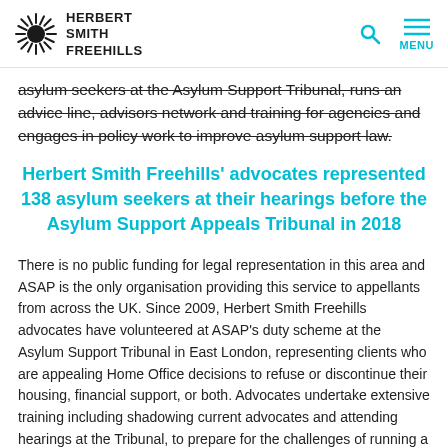HERBERT SMITH FREEHILLS
asylum seekers at the Asylum Support Tribunal, runs an advice line, advisors network and training for agencies and engages in policy work to improve asylum support law.
Herbert Smith Freehills' advocates represented 138 asylum seekers at their hearings before the Asylum Support Appeals Tribunal in 2018
There is no public funding for legal representation in this area and ASAP is the only organisation providing this service to appellants from across the UK. Since 2009, Herbert Smith Freehills advocates have volunteered at ASAP's duty scheme at the Asylum Support Tribunal in East London, representing clients who are appealing Home Office decisions to refuse or discontinue their housing, financial support, or both. Advocates undertake extensive training including shadowing current advocates and attending hearings at the Tribunal, to prepare for the challenges of running a case on their own within a short timeframe and ensure that they are